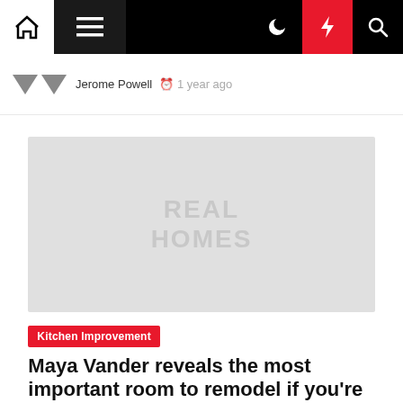Navigation bar with home, menu, dark mode, lightning/breaking news, and search icons
Jerome Powell  1 year ago
[Figure (logo): Real Homes logo placeholder image in light gray]
Kitchen Improvement
Maya Vander reveals the most important room to remodel if you're o